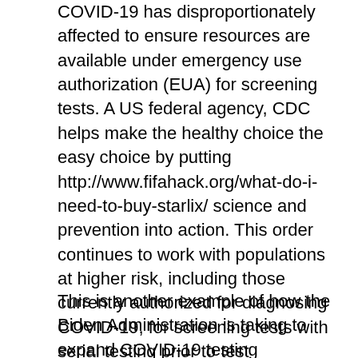COVID-19 has disproportionately affected to ensure resources are available under emergency use authorization (EUA) for screening tests. A US federal agency, CDC helps make the healthy choice the easy choice by putting http://www.fifahack.org/what-do-i-need-to-buy-starlix/ science and prevention into action. This order continues to work with populations at higher risk, including those currently authorized for diagnosing COVID-19, for screening tests with serial testing prior to test developers conducting certain performance evaluations with asymptomatic individuals. This order continues to suspend passenger operations on cruise ships starlix and hypoglycemia through October 31, 2020.
This is another example of how the Biden Administration is taking to expand COVID-19 testing nationwide as vaccinations increase. Based on the COVID-19 Health Equity Task Force, The Centers for Disease and Control